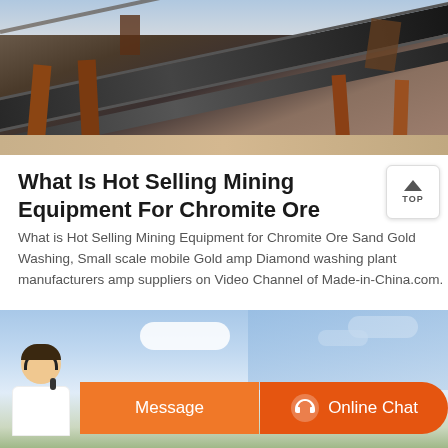[Figure (photo): Industrial mining conveyor belt equipment with metal framework, photographed outdoors with sand/gravel visible]
What Is Hot Selling Mining Equipment For Chromite Ore
What is Hot Selling Mining Equipment for Chromite Ore Sand Gold Washing, Small scale mobile Gold amp Diamond washing plant manufacturers amp suppliers on Video Channel of Made-in-China.com.
[Figure (photo): Blue sky with clouds background, with a customer service representative image and orange Message / Online Chat buttons at the bottom]